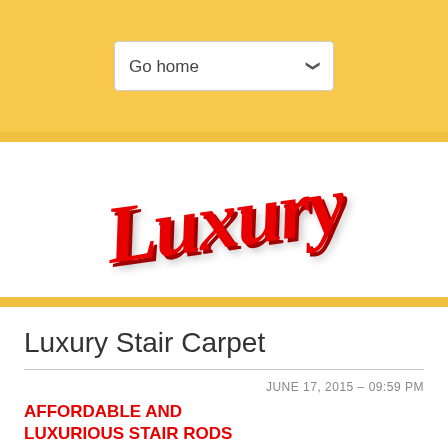Go home
[Figure (logo): Luxury script logo in red italic bold font with drop shadow]
Luxury Stair Carpet
JUNE 17, 2015 – 09:59 PM
AFFORDABLE AND LUXURIOUS STAIR RODS BY MASSUD & SONS
[Figure (photo): Photo of luxury staircase with red carpet and ornate gold stair rods]
You want a